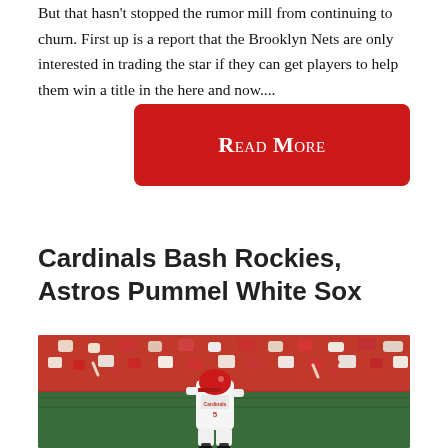But that hasn't stopped the rumor mill from continuing to churn. First up is a report that the Brooklyn Nets are only interested in trading the star if they can get players to help them win a title in the here and now....
Read More
Cardinals Bash Rockies, Astros Pummel White Sox
[Figure (photo): A St. Louis Cardinals baseball player in white uniform with red Cardinals logo, walking on the field in front of a large crowd of fans wearing red in the stands.]